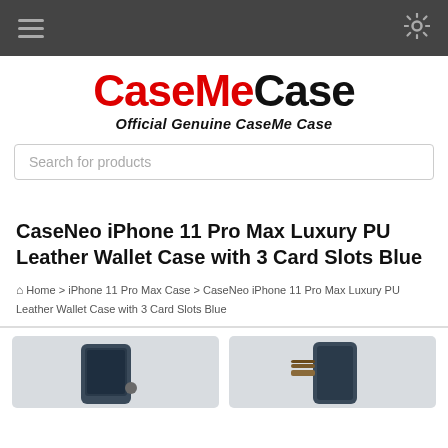Navigation bar with menu and settings icons
[Figure (logo): CaseMeCase logo - red CaseMe and black Case text with tagline Official Genuine CaseMe Case]
Search for products
CaseNeo iPhone 11 Pro Max Luxury PU Leather Wallet Case with 3 Card Slots Blue
Home > iPhone 11 Pro Max Case > CaseNeo iPhone 11 Pro Max Luxury PU Leather Wallet Case with 3 Card Slots Blue
[Figure (photo): Two product photos of blue leather wallet phone cases for iPhone 11 Pro Max]